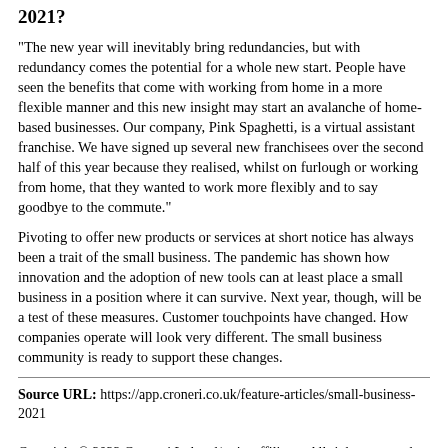2021?
"The new year will inevitably bring redundancies, but with redundancy comes the potential for a whole new start. People have seen the benefits that come with working from home in a more flexible manner and this new insight may start an avalanche of home-based businesses. Our company, Pink Spaghetti, is a virtual assistant franchise. We have signed up several new franchisees over the second half of this year because they realised, whilst on furlough or working from home, that they wanted to work more flexibly and to say goodbye to the commute."
Pivoting to offer new products or services at short notice has always been a trait of the small business. The pandemic has shown how innovation and the adoption of new tools can at least place a small business in a position where it can survive. Next year, though, will be a test of these measures. Customer touchpoints have changed. How companies operate will look very different. The small business community is ready to support these changes.
Source URL: https://app.croneri.co.uk/feature-articles/small-business-2021

Copyright © 2022 Croner-i Ltd and/or its affiliates. All rights reserved.